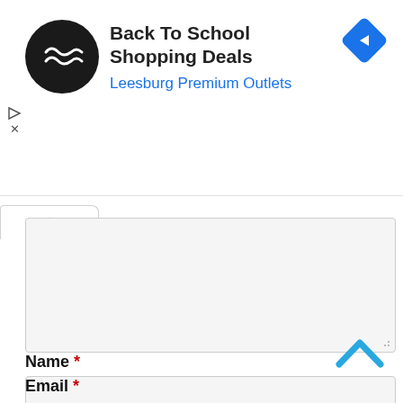[Figure (screenshot): Advertisement banner with circular black logo containing double arrow icons, text 'Back To School Shopping Deals' and 'Leesburg Premium Outlets' in blue, and a blue diamond navigation icon on the right]
[Figure (screenshot): Collapse/expand button (chevron up) and a large textarea input field with resize handle]
Name *
[Figure (screenshot): Name input text field (empty, light gray background)]
[Figure (screenshot): Blue chevron-up scroll button in bottom right]
Email *